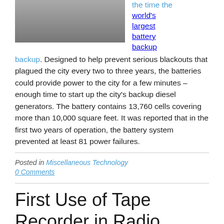[Figure (photo): Interior photo of a large building hallway or transit station with people visible]
the time the world's largest battery backup. Designed to help prevent serious blackouts that plagued the city every two to three years, the batteries could provide power to the city for a few minutes – enough time to start up the city's backup diesel generators. The battery contains 13,760 cells covering more than 10,000 square feet. It was reported that in the first two years of operation, the battery system prevented at least 81 power failures.
Posted in Miscellaneous Technology
0 Comments
First Use of Tape Recorder in Radio